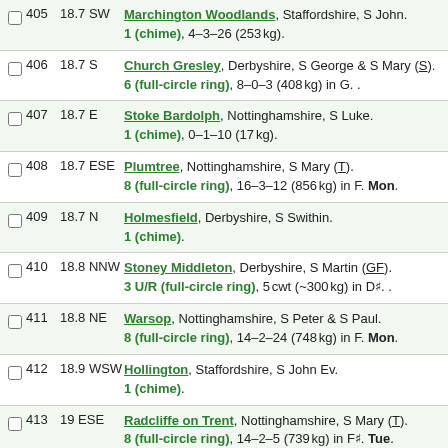405 18.7 SW Marchington Woodlands, Staffordshire, S John. 1 (chime), 4–3–26 (253 kg).
406 18.7 S Church Gresley, Derbyshire, S George & S Mary (S). 6 (full-circle ring), 8–0–3 (408 kg) in G. .
407 18.7 E Stoke Bardolph, Nottinghamshire, S Luke. 1 (chime), 0–1–10 (17 kg).
408 18.7 ESE Plumtree, Nottinghamshire, S Mary (T). 8 (full-circle ring), 16–3–12 (856 kg) in F. Mon.
409 18.7 N Holmesfield, Derbyshire, S Swithin. 1 (chime).
410 18.8 NNW Stoney Middleton, Derbyshire, S Martin (GF). 3 U/R (full-circle ring), 5 cwt (~300 kg) in D#. .
411 18.8 NE Warsop, Nottinghamshire, S Peter & S Paul. 8 (full-circle ring), 14–2–24 (748 kg) in F. Mon.
412 18.9 WSW Hollington, Staffordshire, S John Ev. 1 (chime).
413 19 ESE Radcliffe on Trent, Nottinghamshire, S Mary (T). 8 (full-circle ring), 14–2–5 (739 kg) in F#. Tue.
414 19 E Bulcote, Nottinghamshire, Holy Trinity. 1 (chime), 1–0–24 (62 kg).
415 19.1 S ...